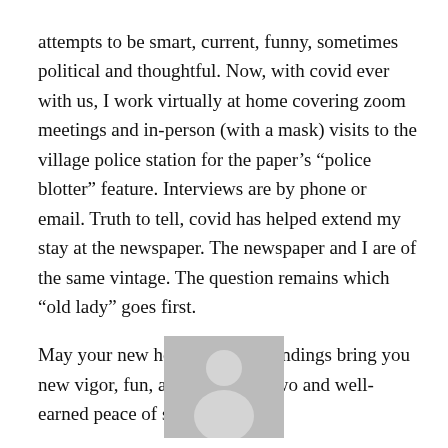attempts to be smart, current, funny, sometimes political and thoughtful. Now, with covid ever with us, I work virtually at home covering zoom meetings and in-person (with a mask) visits to the village police station for the paper's “police blotter” feature. Interviews are by phone or email. Truth to tell, covid has helped extend my stay at the newspaper. The newspaper and I are of the same vintage. The question remains which “old lady” goes first.
May your new home and surroundings bring you new vigor, fun, a challenge or two and well-earned peace of spirit.
[Figure (photo): Silhouette placeholder photo of a person, gray background with white person silhouette]